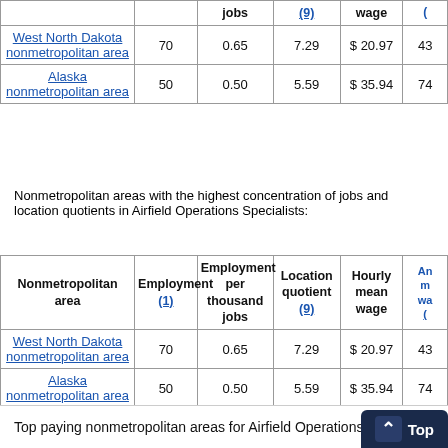| Nonmetropolitan area | Employment (1) | Employment per thousand jobs | Location quotient (9) | Hourly mean wage | An... m... wa... |
| --- | --- | --- | --- | --- | --- |
| West North Dakota nonmetropolitan area | 70 | 0.65 | 7.29 | $ 20.97 | 43 |
| Alaska nonmetropolitan area | 50 | 0.50 | 5.59 | $ 35.94 | 74 |
Nonmetropolitan areas with the highest concentration of jobs and location quotients in Airfield Operations Specialists:
| Nonmetropolitan area | Employment (1) | Employment per thousand jobs | Location quotient (9) | Hourly mean wage | An... m... wa... |
| --- | --- | --- | --- | --- | --- |
| West North Dakota nonmetropolitan area | 70 | 0.65 | 7.29 | $ 20.97 | 43 |
| Alaska nonmetropolitan area | 50 | 0.50 | 5.59 | $ 35.94 | 74 |
Top paying nonmetropolitan areas for Airfield Operations S...